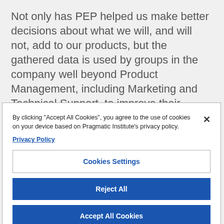Not only has PEP helped us make better decisions about what we will, and will not, add to our products, but the gathered data is used by groups in the company well beyond Product Management, including Marketing and Technical Support, to improve their knowledge of customer needs and problems.
[Figure (screenshot): Cookie consent modal dialog with close button (×), text about cookies, Privacy Policy link, and three buttons: Cookies Settings (outlined), Reject All (blue filled), Accept All Cookies (blue filled).]